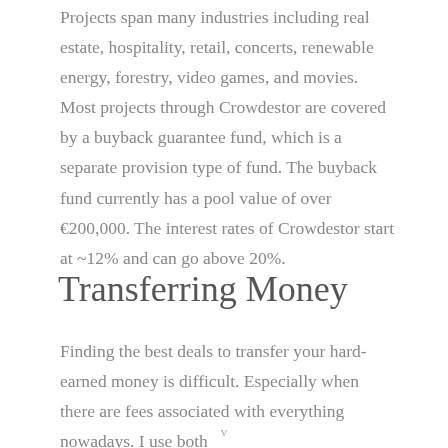Projects span many industries including real estate, hospitality, retail, concerts, renewable energy, forestry, video games, and movies. Most projects through Crowdestor are covered by a buyback guarantee fund, which is a separate provision type of fund. The buyback fund currently has a pool value of over €200,000. The interest rates of Crowdestor start at ~12% and can go above 20%.
Transferring Money
Finding the best deals to transfer your hard-earned money is difficult. Especially when there are fees associated with everything nowadays. I use both
v